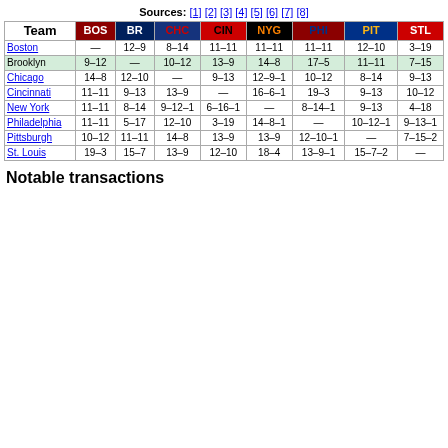Sources: [1] [2] [3] [4] [5] [6] [7] [8]
| Team | BOS | BR | CHC | CIN | NYG | PHI | PIT | STL |
| --- | --- | --- | --- | --- | --- | --- | --- | --- |
| Boston | — | 12–9 | 8–14 | 11–11 | 11–11 | 11–11 | 12–10 | 3–19 |
| Brooklyn | 9–12 | — | 10–12 | 13–9 | 14–8 | 17–5 | 11–11 | 7–15 |
| Chicago | 14–8 | 12–10 | — | 9–13 | 12–9–1 | 10–12 | 8–14 | 9–13 |
| Cincinnati | 11–11 | 9–13 | 13–9 | — | 16–6–1 | 19–3 | 9–13 | 10–12 |
| New York | 11–11 | 8–14 | 9–12–1 | 6–16–1 | — | 8–14–1 | 9–13 | 4–18 |
| Philadelphia | 11–11 | 5–17 | 12–10 | 3–19 | 14–8–1 | — | 10–12–1 | 9–13–1 |
| Pittsburgh | 10–12 | 11–11 | 14–8 | 13–9 | 13–9 | 12–10–1 | — | 7–15–2 |
| St. Louis | 19–3 | 15–7 | 13–9 | 12–10 | 18–4 | 13–9–1 | 15–7–2 | — |
Notable transactions